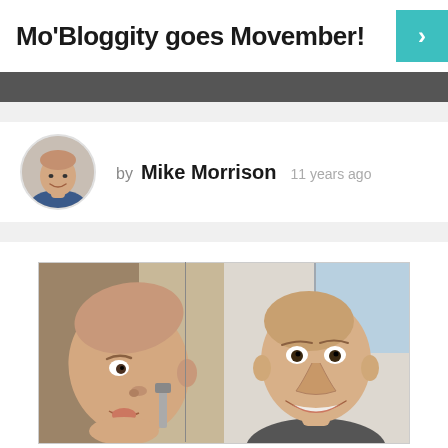Mo'Bloggity goes Movember!
by Mike Morrison  11 years ago
[Figure (photo): Side-by-side photos of two bald men, left photo shows a man looking sideways/down at a razor, right photo shows a man smiling at the camera in an office setting.]